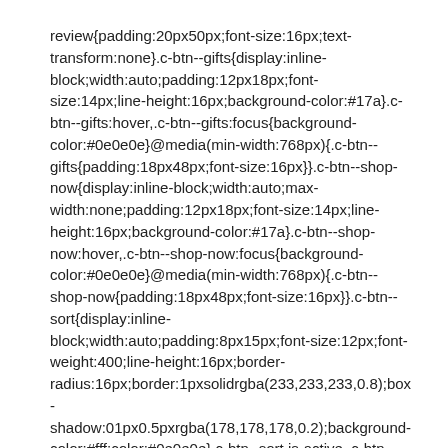review{padding:20px50px;font-size:16px;text-transform:none}.c-btn--gifts{display:inline-block;width:auto;padding:12px18px;font-size:14px;line-height:16px;background-color:#17a}.c-btn--gifts:hover,.c-btn--gifts:focus{background-color:#0e0e0e}@media(min-width:768px){.c-btn--gifts{padding:18px48px;font-size:16px}}.c-btn--shop-now{display:inline-block;width:auto;max-width:none;padding:12px18px;font-size:14px;line-height:16px;background-color:#17a}.c-btn--shop-now:hover,.c-btn--shop-now:focus{background-color:#0e0e0e}@media(min-width:768px){.c-btn--shop-now{padding:18px48px;font-size:16px}}.c-btn--sort{display:inline-block;width:auto;padding:8px15px;font-size:12px;font-weight:400;line-height:16px;border-radius:16px;border:1pxsolidrgba(233,233,233,0.8);box-shadow:01px0.5pxrgba(178,178,178,0.2);background-color:#fff;color:#0e0e0e}.c-btn--sort.is-active,.c-btn--sort:hover,.c-btn--sort:focus{background-color:#17a;color:#fff;border-color:#17a}.c-btn--sort.is-active{font-weight:500}@media(min-width:768px){.c-btn--sort{padding:12px20px;font-size:14px}}.c-